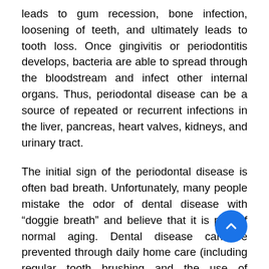leads to gum recession, bone infection, loosening of teeth, and ultimately leads to tooth loss. Once gingivitis or periodontitis develops, bacteria are able to spread through the bloodstream and infect other internal organs. Thus, periodontal disease can be a source of repeated or recurrent infections in the liver, pancreas, heart valves, kidneys, and urinary tract.
The initial sign of the periodontal disease is often bad breath. Unfortunately, many people mistake the odor of dental disease with “doggie breath” and believe that it is part of normal aging. Dental disease can be prevented through daily home care (including regular tooth brushing and the use of appropriate diets designed to minimize the accumulation of plaque and tartar) and regular veterinary visits for dental examinations and complete cleaning and polishing. Don’t be fooled by advertisements or testimonials that suggest that water additives, oral sprays, dental gels,